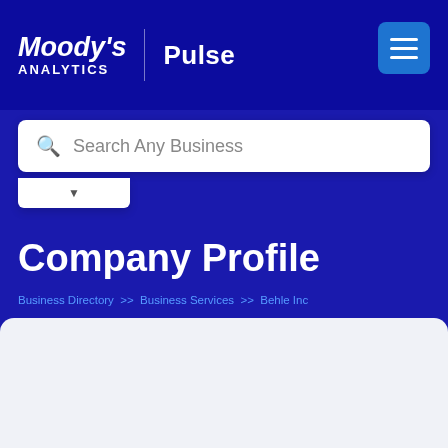[Figure (logo): Moody's Analytics | Pulse logo in white on dark blue header with hamburger menu button]
[Figure (screenshot): Search bar with placeholder text 'Search Any Business' and a dropdown arrow below]
Company Profile
Business Directory >> Business Services >> Behle Inc
[Figure (infographic): Blue rating badge showing star icon and 4.0 score next to 'SUPPLIER PAYMENT REVIEWS' label]
Behle Inc